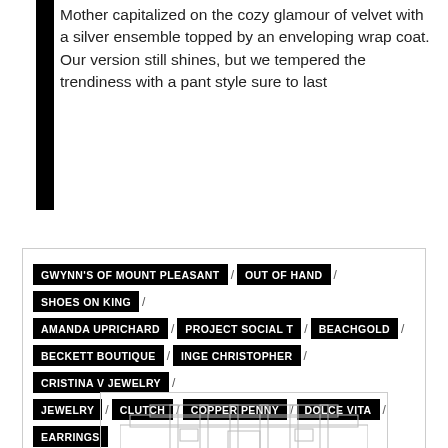Mother capitalized on the cozy glamour of velvet with a silver ensemble topped by an enveloping wrap coat. Our version still shines, but we tempered the trendiness with a pant style sure to last
GWYNN'S OF MOUNT PLEASANT / OUT OF HAND / SHOES ON KING / AMANDA UPRICHARD / PROJECT SOCIAL T / BEACHGOLD / BECKETT BOUTIQUE / INGE CHRISTOPHER / CRISTINA V JEWELRY / JEWELRY / CLUTCH / COPPER PENNY / DOLCE VITA / EARRINGS / SHOES / HONEY / IBU / ONE / SOCIAL / RTW / RTW / SANDALS
[Figure (illustration): Partial view of a building illustration with architectural facade details, shown at bottom of page]